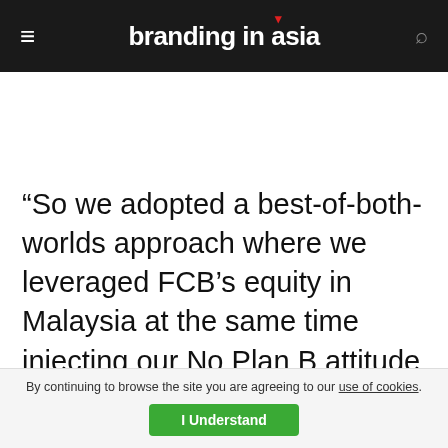branding in asia
“So we adopted a best-of-both-worlds approach where we leveraged FCB’s equity in Malaysia at the same time injecting our No Plan B attitude and distinctive, feisty personality to reshape our business, client by client and talent by talent to achieve our goal of becoming a challenger...
By continuing to browse the site you are agreeing to our use of cookies. I Understand